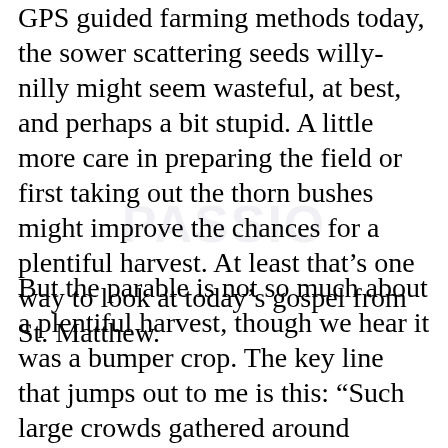GPS guided farming methods today, the sower scattering seeds willy-nilly might seem wasteful, at best, and perhaps a bit stupid. A little more care in preparing the field or first taking out the thorn bushes might improve the chances for a plentiful harvest. At least that’s one way to look at today’s gospel from St. Matthew.
But the parable is not so much about a plentiful harvest, though we hear it was a bumper crop. The key line that jumps out to me is this: “Such large crowds gathered around him…” Some of those who came looking for Jesus were perhaps only curious, some skeptical, some hurting, and some longing for what they could not name. The others